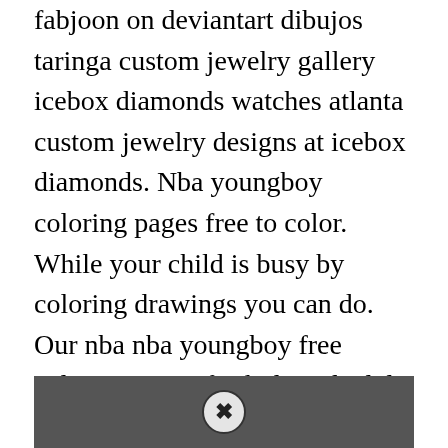fabjoon on deviantart dibujos taringa custom jewelry gallery icebox diamonds watches atlanta custom jewelry designs at icebox diamonds. Nba youngboy coloring pages free to color. While your child is busy by coloring drawings you can do. Our nba nba youngboy free coloring pages for kids and adult range from cartoon to comic etc. Nba Youngboy Sticker By Yajeylissanchez In 2021 Nba Rapper Wallpaper Iphone Stickers.
[Figure (photo): A dark photo partially visible at the bottom of the page with a circular close/X button overlay in the center.]